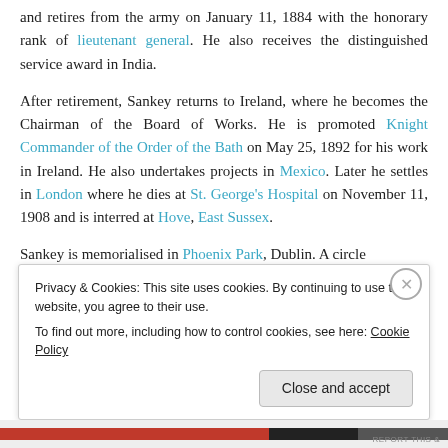and retires from the army on January 11, 1884 with the honorary rank of lieutenant general. He also receives the distinguished service award in India.
After retirement, Sankey returns to Ireland, where he becomes the Chairman of the Board of Works. He is promoted Knight Commander of the Order of the Bath on May 25, 1892 for his work in Ireland. He also undertakes projects in Mexico. Later he settles in London where he dies at St. George's Hospital on November 11, 1908 and is interred at Hove, East Sussex.
Sankey is memorialised in Phoenix Park, Dublin. A circle
Privacy & Cookies: This site uses cookies. By continuing to use this website, you agree to their use.
To find out more, including how to control cookies, see here: Cookie Policy